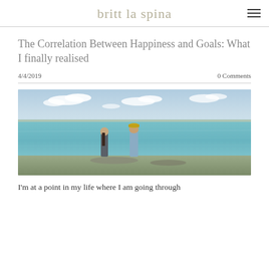britt la spina
The Correlation Between Happiness and Goals: What I finally realised
4/4/2019
0 Comments
[Figure (photo): Two people standing on a rocky shoreline facing a turquoise sea under a partly cloudy sky]
I'm at a point in my life where I am going through